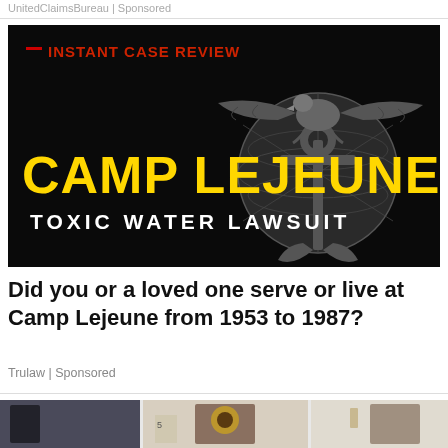UnitedClaimsBureau | Sponsored
[Figure (illustration): Camp Lejeune Toxic Water Lawsuit advertisement image. Black background with US Marine Corps Eagle Globe and Anchor emblem in grayscale. Red text 'INSTANT CASE REVIEW' with red dash at top left. Large yellow bold text 'CAMP LEJEUNE'. White bold text 'TOXIC WATER LAWSUIT'.]
Did you or a loved one serve or live at Camp Lejeune from 1953 to 1987?
Trulaw | Sponsored
[Figure (photo): Bottom strip showing partial photos of house exterior scenes with front doors and decorative elements including sunflowers.]